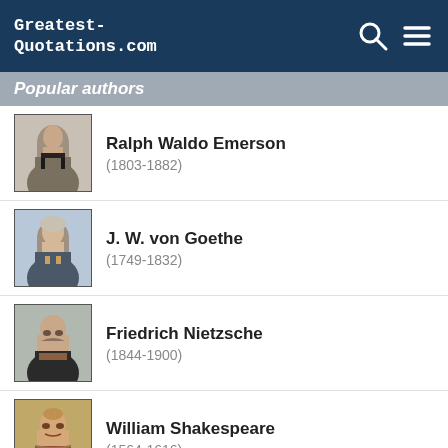Greatest-Quotations.com
Popular authors
Ralph Waldo Emerson (1803-1882)
J. W. von Goethe (1749-1832)
Friedrich Nietzsche (1844-1900)
William Shakespeare (1564-1616)
Oscar Wilde (1854-1900)